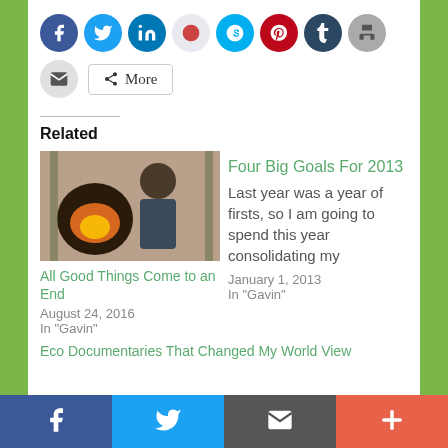[Figure (screenshot): Social sharing icons row: Facebook (blue), Twitter (blue), LinkedIn (blue), Reddit (light blue/gray), Skype (blue), Pinterest (red), Tumblr (dark blue), Print (gray)]
[Figure (screenshot): Second row: Email icon (gray circle) and More button with share icon]
Related
[Figure (photo): Photo of man standing next to a wood-fired oven with flames visible]
All Good Things Come to an End
August 24, 2016
In "Gavin"
Four Big Goals For 2013
Last year was a year of firsts, so I am going to spend this year consolidating my
January 1, 2013
In "Gavin"
Eco Documentaries That Changed My World View
[Figure (screenshot): Bottom mobile share bar with Facebook, Twitter, Email/envelope, and Plus icons]